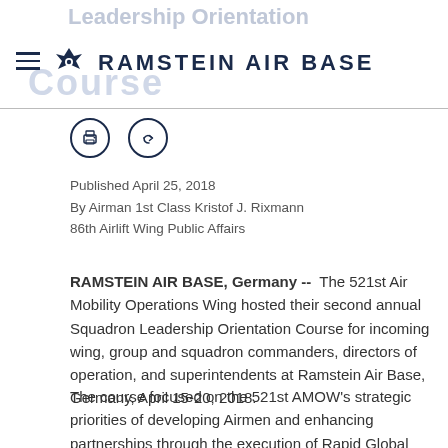Leadership Orientation Course | RAMSTEIN AIR BASE
[Figure (logo): Ramstein Air Base official logo with Air Force symbol and text RAMSTEIN AIR BASE]
[Figure (other): Print and share icon buttons]
Published April 25, 2018
By Airman 1st Class Kristof J. Rixmann
86th Airlift Wing Public Affairs
RAMSTEIN AIR BASE, Germany --  The 521st Air Mobility Operations Wing hosted their second annual Squadron Leadership Orientation Course for incoming wing, group and squadron commanders, directors of operation, and superintendents at Ramstein Air Base, Germany, April 15-20, 2018.
The course focused on the 521st AMOW's strategic priorities of developing Airmen and enhancing partnerships through the execution of Rapid Global